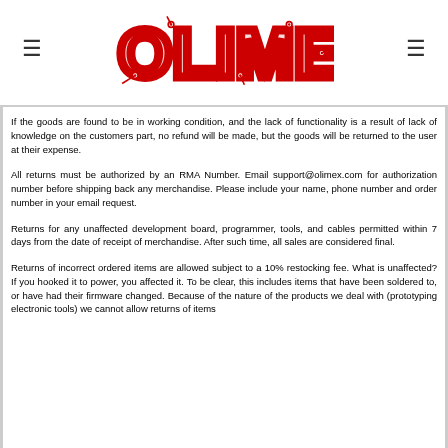OLIMEX [logo]
If the goods are found to be in working condition, and the lack of functionality is a result of lack of knowledge on the customers part, no refund will be made, but the goods will be returned to the user at their expense.
All returns must be authorized by an RMA Number. Email support@olimex.com for authorization number before shipping back any merchandise. Please include your name, phone number and order number in your email request.
Returns for any unaffected development board, programmer, tools, and cables permitted within 7 days from the date of receipt of merchandise. After such time, all sales are considered final.
Returns of incorrect ordered items are allowed subject to a 10% restocking fee. What is unaffected? If you hooked it to power, you affected it. To be clear, this includes items that have been soldered to, or have had their firmware changed. Because of the nature of the products we deal with (prototyping electronic tools) we cannot allow returns of items